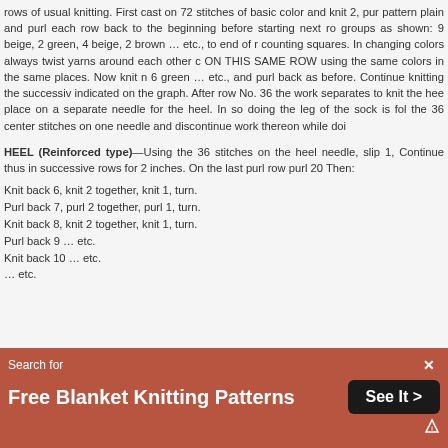rows of usual knitting. First cast on 72 stitches of basic color and knit 2, purl pattern plain and purl each row back to the beginning before starting next row groups as shown: 9 beige, 2 green, 4 beige, 2 brown … etc., to end of row counting squares. In changing colors always twist yarns around each other o ON THIS SAME ROW using the same colors in the same places. Now knit n 6 green … etc., and purl back as before. Continue knitting the successive indicated on the graph. After row No. 36 the work separates to knit the heel place on a separate needle for the heel. In so doing the leg of the sock is fol the 36 center stitches on one needle and discontinue work thereon while doi
HEEL (Reinforced type)—Using the 36 stitches on the heel needle, slip 1, Continue thus in successive rows for 2 inches. On the last purl row purl 20 Then:
Knit back 6, knit 2 together, knit 1, turn.
Purl back 7, purl 2 together, purl 1, turn.
Knit back 8, knit 2 together, knit 1, turn.
Purl back 9 … etc.
Knit back 10 … etc.
… etc.
[Figure (infographic): Advertisement banner for 'Free Blanket Knitting Patterns' with a 'See It >' button on a dark red/brown background]